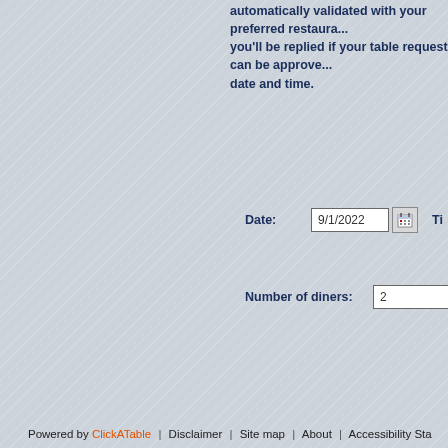automatically validated with your preferred restaurant, you'll be replied if your table request can be approved date and time.
Date: 9/1/2022   Ti...
Number of diners: 2   Sm...
Opening Hours :
Sunday-Saturday: 12:00 - 23:00
Powered by ClickATable | Disclaimer | Site map | About | Accessibility Sta...